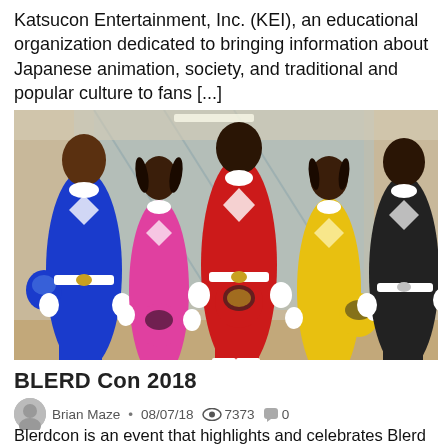Katsucon Entertainment, Inc. (KEI), an educational organization dedicated to bringing information about Japanese animation, society, and traditional and popular culture to fans [...]
[Figure (photo): Group photo of five people in Power Rangers costumes (blue, pink, red, yellow, black) posing in front of escalators at a convention.]
BLERD Con 2018
Brian Maze • 08/07/18  👁 7373  💬 0
Blerdcon is an event that highlights and celebrates Blerd